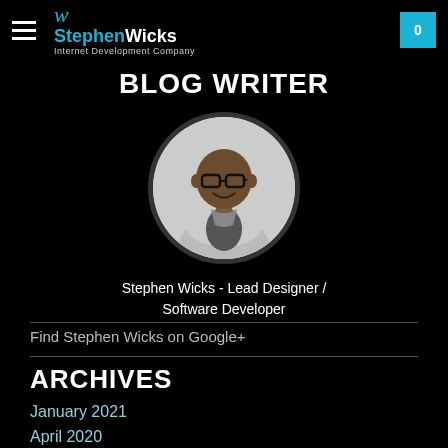Stephen Wicks Internet Development Company | 0
BLOG WRITER
[Figure (photo): Black and white circular portrait photo of Stephen Wicks, a smiling man wearing glasses and a light-colored jacket with arms crossed]
Stephen Wicks - Lead Designer / Software Developer
Find Stephen Wicks on Google+
ARCHIVES
January 2021
April 2020
September 2019